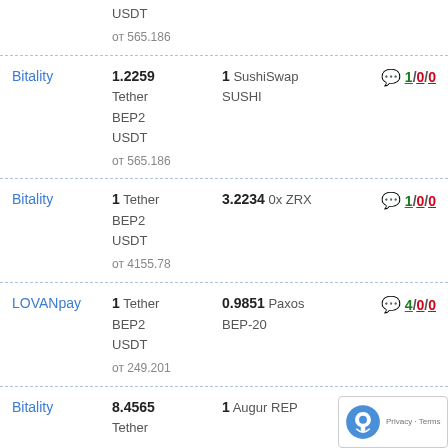USDT
от 565.186
Bitality | 1.2259 Tether BEP2 USDT от 565.186 | 1 SushiSwap SUSHI | 1/0/0
Bitality | 1 Tether BEP2 USDT от 4155.78 | 3.2234 0x ZRX | 1/0/0
LOVANpay | 1 Tether BEP2 USDT от 249.201 | 0.9851 Paxos BEP-20 | 4/0/0
Bitality | 8.4565 Tether | 1 Augur REP | 1/0/...